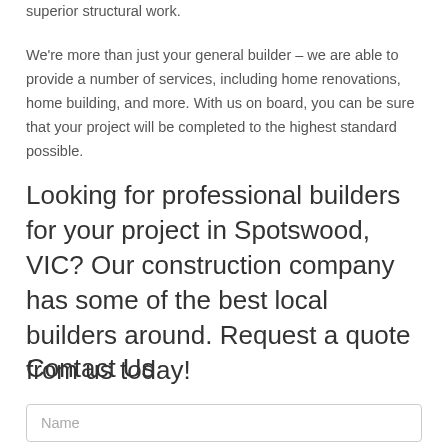superior structural work.
We're more than just your general builder – we are able to provide a number of services, including home renovations, home building, and more. With us on board, you can be sure that your project will be completed to the highest standard possible.
Looking for professional builders for your project in Spotswood, VIC? Our construction company has some of the best local builders around. Request a quote from us today!
Contact Us
Name